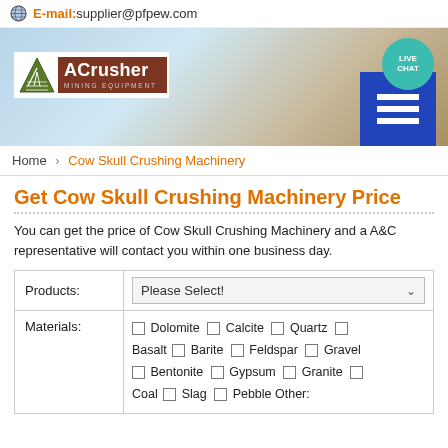E-mail:supplier@pfpew.com
[Figure (logo): ACrusher Mining Equipment logo with banner background and Live Chat button]
Home > Cow Skull Crushing Machinery
Get Cow Skull Crushing Machinery Price
You can get the price of Cow Skull Crushing Machinery and a A&C representative will contact you within one business day.
| Products: | Please Select! |
| Materials: | ☐ Dolomite ☐ Calcite ☐ Quartz ☐ Basalt ☐ Barite ☐ Feldspar ☐ Gravel ☐ Bentonite ☐ Gypsum ☐ Granite ☐ Coal ☐ Slag ☐ Pebble Other: |